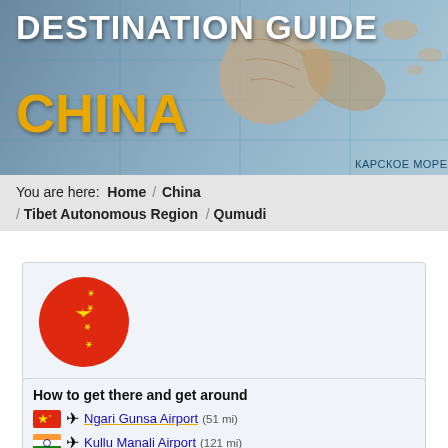[Figure (map): Map background showing Карское море (Kara Sea) region with blue/grey tones]
DESTINATION GUIDE
CHINA
You are here:  Home  /  China  /  Tibet Autonomous Region  /  Qumudi
[Figure (illustration): Chinese flag rendered as a circle: red background with yellow stars]
Qumudi
in Tibet Autonomous Region, China
How to get there and get around
Ngari Gunsa Airport (51 mi)
Kullu Manali Airport (121 mi)
Shimla Airport